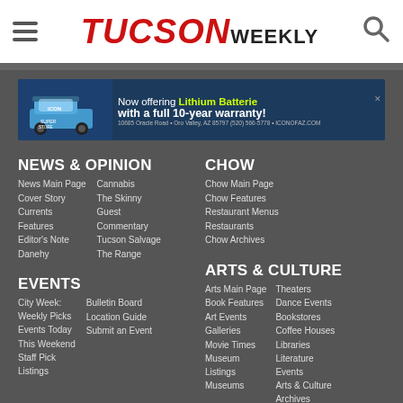TUCSON WEEKLY
[Figure (infographic): Advertisement for Icon Super Store golf carts: Now offering Lithium Batteries with a full 10-year warranty. 10685 Oracle Road, Oro Valley, AZ 85737 (520) 566-5778 ICONOFAZ.COM]
NEWS & OPINION
News Main Page
Cover Story
Currents
Features
Editor's Note
Danehy
Cannabis
The Skinny
Guest Commentary
Tucson Salvage
The Range
CHOW
Chow Main Page
Chow Features
Restaurant Menus
Restaurants
Chow Archives
EVENTS
City Week: Weekly Picks
Events Today
This Weekend
Staff Pick Listings
Bulletin Board
Location Guide
Submit an Event
ARTS & CULTURE
Arts Main Page
Book Features
Art Events
Galleries
Movie Times
Museum Listings
Museums
Theaters
Dance Events
Bookstores
Coffee Houses
Libraries
Literature Events
Arts & Culture Archives